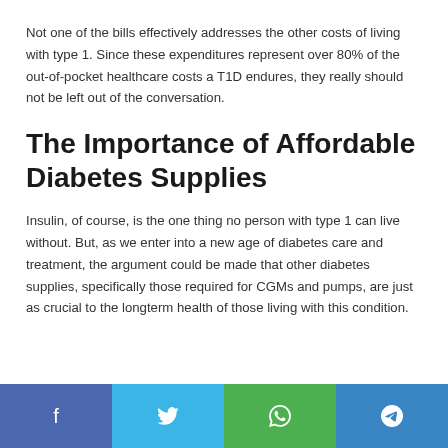Not one of the bills effectively addresses the other costs of living with type 1. Since these expenditures represent over 80% of the out-of-pocket healthcare costs a T1D endures, they really should not be left out of the conversation.
The Importance of Affordable Diabetes Supplies
Insulin, of course, is the one thing no person with type 1 can live without. But, as we enter into a new age of diabetes care and treatment, the argument could be made that other diabetes supplies, specifically those required for CGMs and pumps, are just as crucial to the longterm health of those living with this condition.